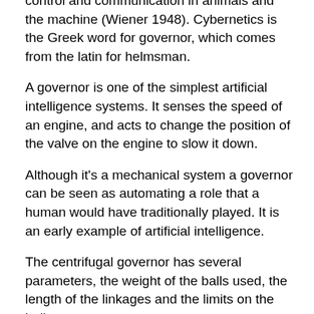control and communication in animals and the machine (Wiener 1948). Cybernetics is the Greek word for governor, which comes from the latin for helmsman.
A governor is one of the simplest artificial intelligence systems. It senses the speed of an engine, and acts to change the position of the valve on the engine to slow it down.
Although it's a mechanical system a governor can be seen as automating a role that a human would have traditionally played. It is an early example of artificial intelligence.
The centrifugal governor has several parameters, the weight of the balls used, the length of the linkages and the limits on the balls movement.
Two principle differences exist between the centrifugal governor and artificial intelligence systems of today.
1. The centrifugal governor is a physical system and it is